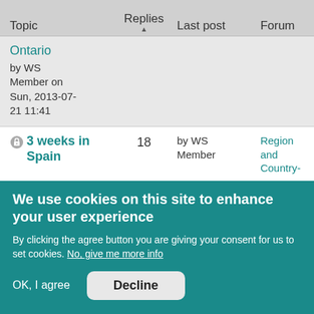| Topic | Replies | Last post | Forum |
| --- | --- | --- | --- |
| Ontario by WS Member on Sun, 2013-07-21 11:41 |  |  |  |
| 3 weeks in Spain | 18 | by WS Member | Region and Country- |
We use cookies on this site to enhance your user experience
By clicking the agree button you are giving your consent for us to set cookies. No, give me more info
OK, I agree  Decline